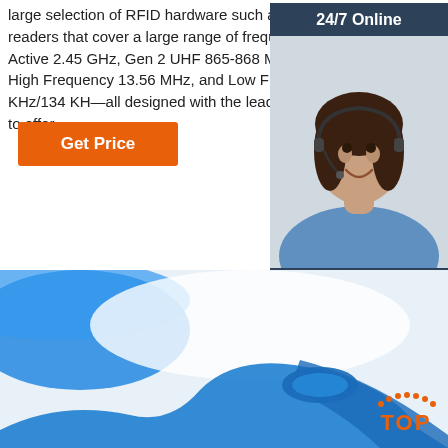large selection of RFID hardware such as tags and readers that cover a large range of frequencies including Active 2.45 GHz, Gen 2 UHF 865-868 MHz, 902-928 MHz, High Frequency 13.56 MHz, and Low Frequency 125 KHz/134 KH—all designed with the leading edge in mind to offer ...
Get Price
[Figure (infographic): Customer support widget with '24/7 Online' header in dark blue, photo of a smiling woman with headset, 'Click here for free chat!' text, and orange QUOTATION button]
[Figure (photo): Blue RFID wristband/tag on a white background with blue abstract shapes. An orange 'TOP' badge with dot arc in the bottom right corner.]